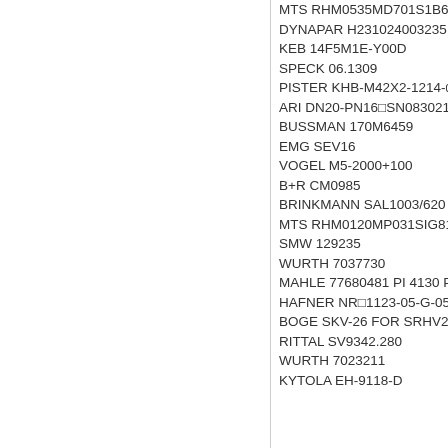MTS RHM0535MD701S1B6
DYNAPAR H231024003235
KEB 14F5M1E-Y00D
SPECK 06.1309
PISTER KHB-M42X2-1214-0
ARI DN20-PN16■SN0830211
BUSSMAN 170M6459
EMG SEV16
VOGEL M5-2000+100
B+R CM0985
BRINKMANN SAL1003/620
MTS RHM0120MP031SIG81
SMW 129235
WURTH 7037730
MAHLE 77680481 PI 4130 P
HAFNER NR□1123-05-G-050
BOGE SKV-26 FOR SRHV20
RITTAL SV9342.280
WURTH 7023211
KYTOLA EH-9118-D